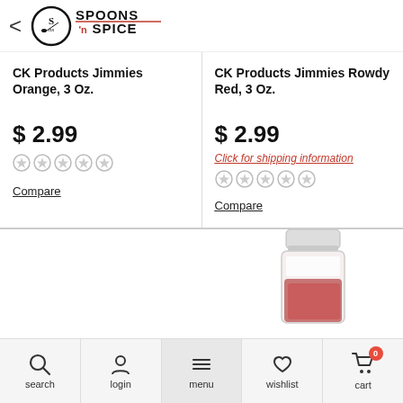Spoons 'n Spice
CK Products Jimmies Orange, 3 Oz.
$ 2.99
Compare
CK Products Jimmies Rowdy Red, 3 Oz.
$ 2.99
Click for shipping information
Compare
[Figure (photo): Jar of CK Products Jimmies Rowdy Red spice/sprinkles, partially visible at bottom right]
search   login   menu   wishlist   cart 0